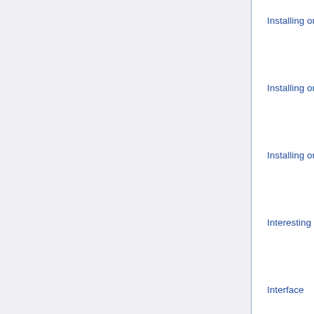Installing on Linux
Installing on Mac
Installing on Windows
Interesting links
Interface
Interface creation
Interface Customization
Introduction to Python
Key ASCII
KicadStepUp Workbench
Lattice2 AttachablePlacement